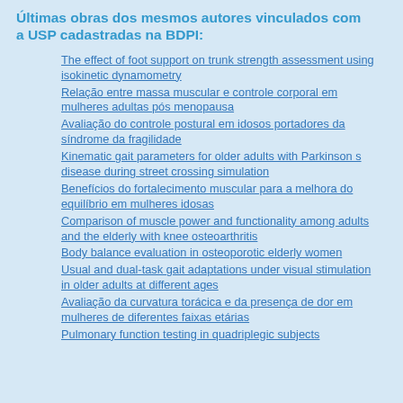Últimas obras dos mesmos autores vinculados com a USP cadastradas na BDPI:
The effect of foot support on trunk strength assessment using isokinetic dynamometry
Relação entre massa muscular e controle corporal em mulheres adultas pós menopausa
Avaliação do controle postural em idosos portadores da síndrome da fragilidade
Kinematic gait parameters for older adults with Parkinson s disease during street crossing simulation
Benefícios do fortalecimento muscular para a melhora do equilíbrio em mulheres idosas
Comparison of muscle power and functionality among adults and the elderly with knee osteoarthritis
Body balance evaluation in osteoporotic elderly women
Usual and dual-task gait adaptations under visual stimulation in older adults at different ages
Avaliação da curvatura torácica e da presença de dor em mulheres de diferentes faixas etárias
Pulmonary function testing in quadriplegic subjects